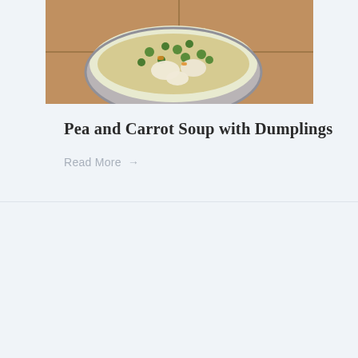[Figure (photo): Top-down photo of a bowl of pea and carrot soup with dumplings, on a terracotta-tiled surface]
Pea and Carrot Soup with Dumplings
Read More →
[Figure (photo): Overhead photo of lamb with peas served over white sauce in a round bowl, placed on a dark cast-iron pan, with rustic bread slices on the side]
Lamb with Peas